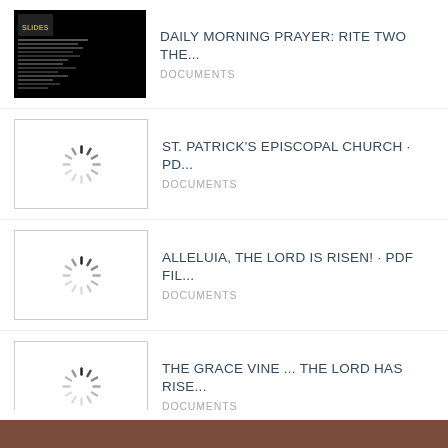DAILY MORNING PRAYER: RITE TWO THE... — DOCUMENTS
ST. PATRICK'S EPISCOPAL CHURCH · PD... — DOCUMENTS
ALLELUIA, THE LORD IS RISEN! · PDF FIL... — DOCUMENTS
THE GRACE VINE ... THE LORD HAS RISE... — DOCUMENTS
View More